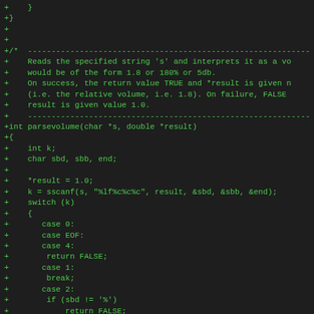Code diff showing parsevolume function in C, with added lines (+) in green monospace font on dark background.